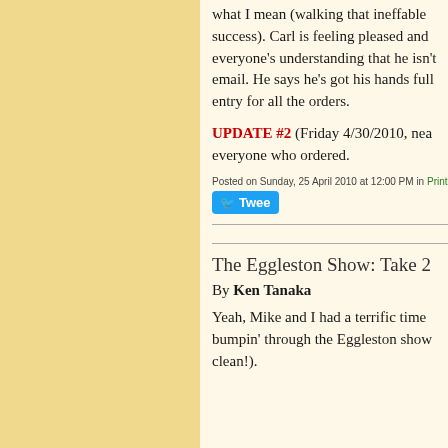what I mean (walking that ineffable success). Carl is feeling pleased and everyone's understanding that he isn't email. He says he's got his hands full entry for all the orders.
UPDATE #2 (Friday 4/30/2010, nea everyone who ordered.
Posted on Sunday, 25 April 2010 at 12:00 PM in Print
[Figure (other): Tweet button]
The Eggleston Show: Take 2
By Ken Tanaka
Yeah, Mike and I had a terrific time bumpin' through the Eggleston show clean!).